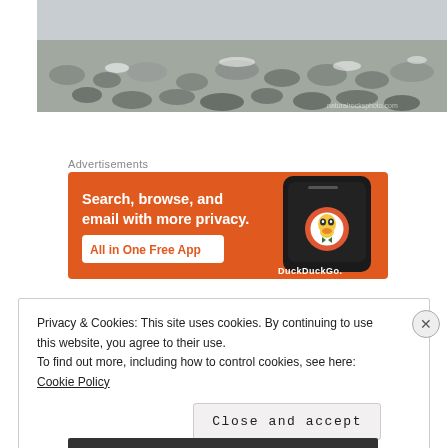[Figure (photo): Rocky shoreline or riverbed covered with stones and pebbles, partially snow-dusted, natural outdoor scene]
Advertisements
[Figure (other): DuckDuckGo advertisement banner: orange background with white bold text 'Search, browse, and email with more privacy.' and 'All in One Free App' button, with a smartphone displaying DuckDuckGo logo on the right side]
Privacy & Cookies: This site uses cookies. By continuing to use this website, you agree to their use.
To find out more, including how to control cookies, see here:
Cookie Policy
Close and accept